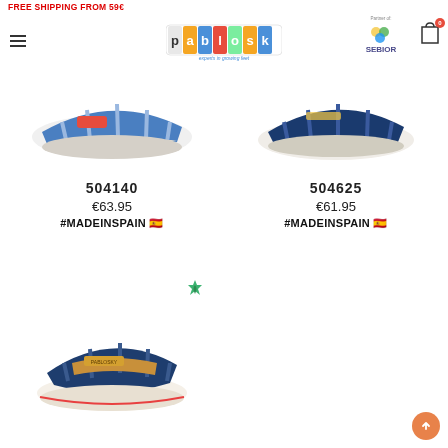FREE SHIPPING FROM 59€
[Figure (logo): Pablosky logo - experts in growing feet]
[Figure (logo): Sebior partner logo]
[Figure (photo): Blue and white children's sandal - product 504140]
[Figure (photo): Navy blue children's sandal - product 504625]
504140
€63.95
#MADEINSPAIN 🇪🇸
504625
€61.95
#MADEINSPAIN 🇪🇸
[Figure (photo): Navy blue and tan children's sandal with eco badge]